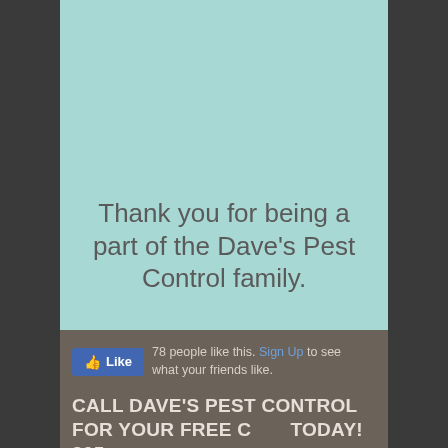[Figure (illustration): Light teal/mint colored rectangle serving as a background image area for a social media post card]
Thank you for being a part of the Dave's Pest Control family.
78 people like this. Sign Up to see what your friends like.
CALL DAVE'S PEST CONTROL FOR YOUR FREE C... TODAY! 205-